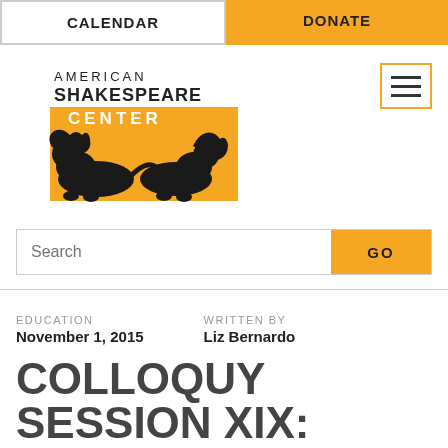CALENDAR | DONATE
[Figure (logo): American Shakespeare Center logo with golden/amber background and silhouetted figures]
Search
EDUCATION
November 1, 2015
WRITTEN BY
Liz Bernardo
COLLOQUY SESSION XIX: STAGING QUESTIONS WITH ACTORS